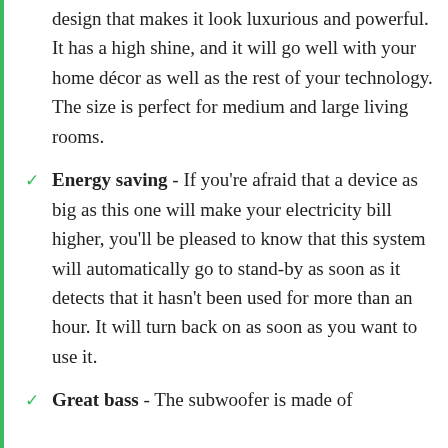design that makes it look luxurious and powerful. It has a high shine, and it will go well with your home décor as well as the rest of your technology. The size is perfect for medium and large living rooms.
Energy saving - If you're afraid that a device as big as this one will make your electricity bill higher, you'll be pleased to know that this system will automatically go to stand-by as soon as it detects that it hasn't been used for more than an hour. It will turn back on as soon as you want to use it.
Great bass - The subwoofer is made of